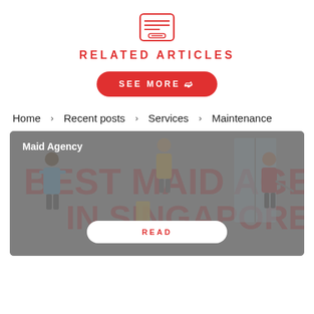[Figure (illustration): Red icon of a content/article list inside a rounded rectangle border]
RELATED ARTICLES
SEE MORE ❯
Home › Recent posts › Services › Maintenance
[Figure (illustration): Banner image showing cleaning staff and bold text 'BEST MAID AGENCY IN SINGAPORE' on a grey background, with label 'Maid Agency' and a READ button]
Maid Agency
READ